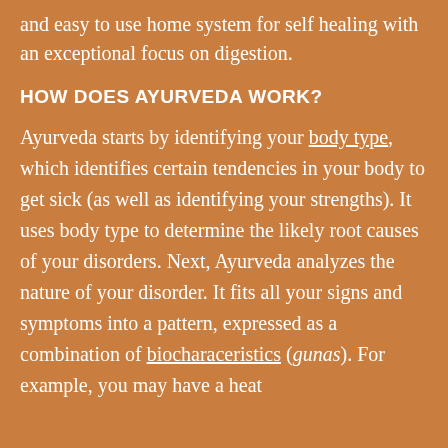and easy to use home system for self healing with an exceptional focus on digestion.
HOW DOES AYURVEDA WORK?
Ayurveda starts by identifying your body type, which identifies certain tendencies in your body to get sick (as well as identifying your strengths). It uses body type to determine the likely root causes of your disorders. Next, Ayurveda analyzes the nature of your disorder. It fits all your signs and symptoms into a pattern, expressed as a combination of biocharaceristics (gunas). For example, you may have a heat